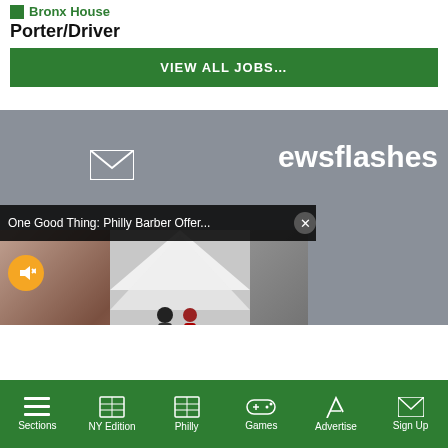Bronx House
Porter/Driver
VIEW ALL JOBS…
[Figure (screenshot): Gray advertisement area with email envelope icon and partial text 'ewsflashes' visible, overlaid with a video player showing a barber shop scene with a tent and chalkboard sign reading 'Evening Cuts Serving the People'. A notification bar reads 'One Good Thing: Philly Barber Offer...' with a close button. A muted audio button (orange circle with speaker icon) is visible.]
Sections  NY Edition  Philly  Games  Advertise  Sign Up